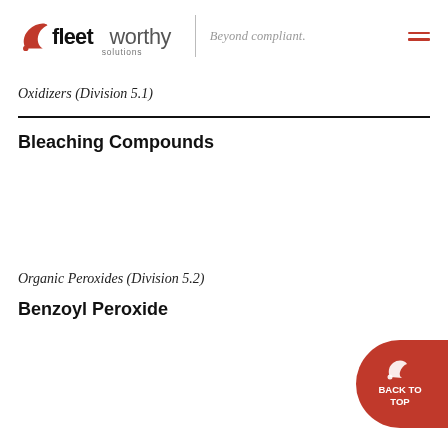[Figure (logo): Fleetworthy Solutions logo with tagline 'Beyond compliant.' and hamburger menu icon]
Oxidizers (Division 5.1)
Bleaching Compounds
Organic Peroxides (Division 5.2)
Benzoyl Peroxide
[Figure (illustration): Red 'Back to Top' button with Fleetworthy icon]